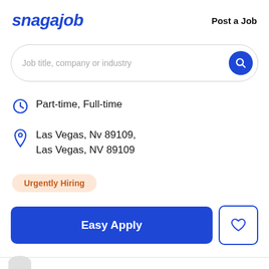snagajob   Post a Job
[Figure (screenshot): Search bar with placeholder text 'Job title, company or industry' and a blue circular search button]
Part-time, Full-time
Las Vegas, Nv 89109, Las Vegas, NV 89109
Urgently Hiring
Easy Apply